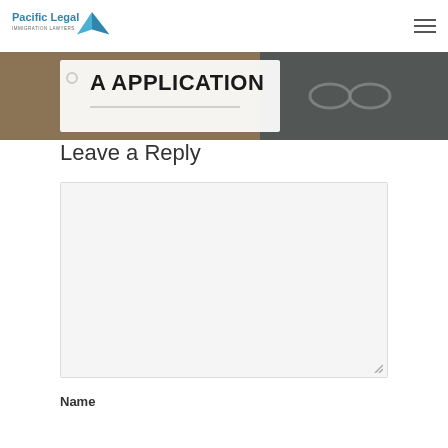Pacific Legal Immigration Lawyers
[Figure (photo): Hero banner showing a 'VISA APPLICATION' document folder on a wooden desk with glasses nearby]
Leave a Reply
[Figure (screenshot): Empty comment text area input box with resize handle in bottom-right corner]
Name